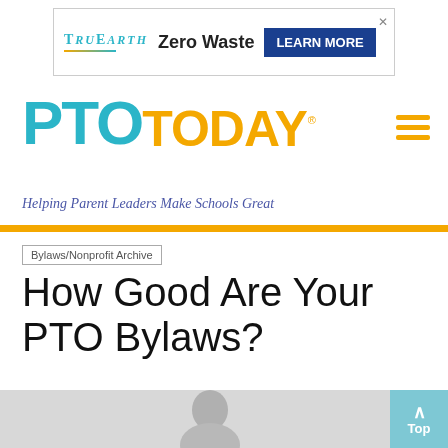[Figure (other): TruEarth advertisement banner with logo, 'Zero Waste' text, and 'LEARN MORE' button]
[Figure (logo): PTO Today logo with 'PTO' in blue and 'TODAY' in gold/yellow with registered trademark symbol]
Helping Parent Leaders Make Schools Great
Bylaws/Nonprofit Archive
How Good Are Your PTO Bylaws?
[Figure (photo): Partial photo of a person visible at the bottom of the page against a grey background]